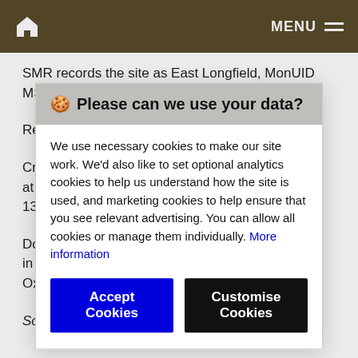Home | MENU
SMR records the site as East Longfield, MonUID MSN 6838; PrefRef 7768.
Refe...
Crac... at M... 13-3...
Dow... in Sh... Oxb...
Sou...
🍪 Please can we use your data?

We use necessary cookies to make our site work. We'd also like to set optional analytics cookies to help us understand how the site is used, and marketing cookies to help ensure that you see relevant advertising. You can allow all cookies or manage them individually. More information

[Accept Cookies] [Customise Cookies]